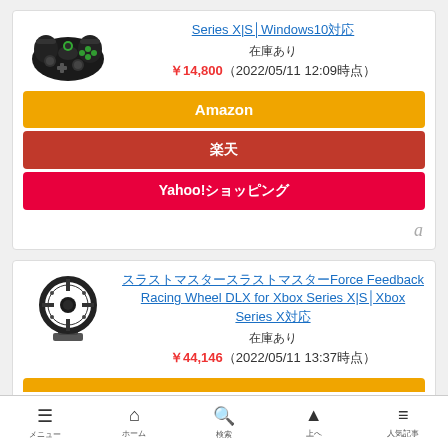[Figure (photo): Black Xbox game controller product image]
Series X|S│Windows10対応
在庫あり
￥14,800（2022/05/11 12:09時点）
Amazon
楽天
Yahoo!ショッピング
[Figure (photo): Racing wheel controller product image]
スラストマスタースラストマスターForce Feedback Racing Wheel DLX for Xbox Series X|S│Xbox Series X対応
在庫あり
￥44,146（2022/05/11 13:37時点）
メニュー　ホーム　検索　上へ　人気記事